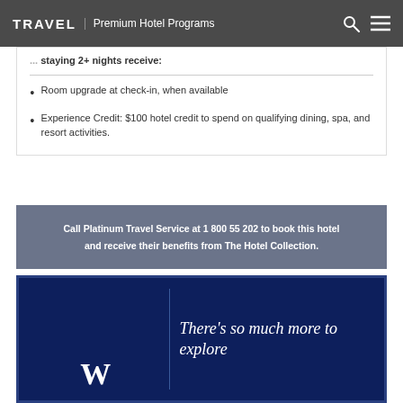TRAVEL | Premium Hotel Programs
...staying 2+ nights receive:
Room upgrade at check-in, when available
Experience Credit: $100 hotel credit to spend on qualifying dining, spa, and resort activities.
Call Platinum Travel Service at 1 800 55 202 to book this hotel and receive their benefits from The Hotel Collection.
There’s so much more to explore